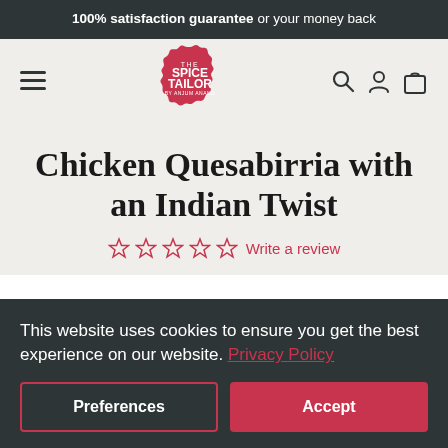100% satisfaction guarantee or your money back
[Figure (logo): The Spice Tailor by Anjum Anand logo — pink scalloped badge with white text]
Chicken Quesabirria with an Indian Twist
☆☆☆☆☆  Write a review
This website uses cookies to ensure you get the best experience on our website. Privacy Policy
Preferences  Accept